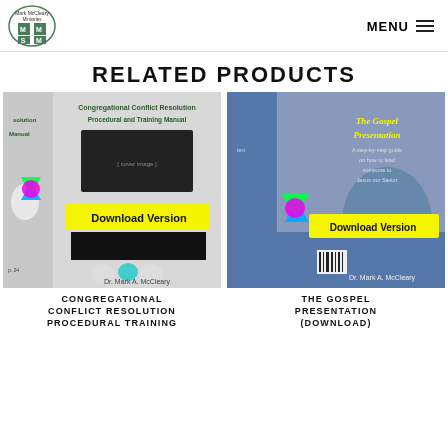Mark McCleary Ministries logo | MENU
RELATED PRODUCTS
[Figure (illustration): Book cover: Congregational Conflict Resolution Procedural and Training Manual by Dr. Mark A. McCleary, download version badge with colorful star graphic]
[Figure (illustration): Book cover: The Gospel Presentation by Dr. Mark A. McCleary, download version badge with colorful star graphic]
CONGREGATIONAL CONFLICT RESOLUTION PROCEDURAL TRAINING
THE GOSPEL PRESENTATION (DOWNLOAD)